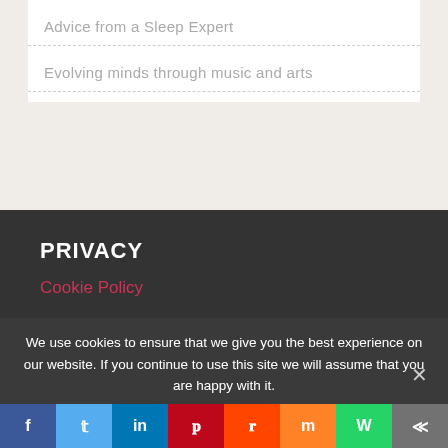Advice from a Sleep Expert
Evolving minds through music and arts
PRIVACY
Cookie Policy
INSTAGRAM FEED
We use cookies to ensure that we give you the best experience on our website. If you continue to use this site we will assume that you are happy with it.
Facebook Twitter LinkedIn Pinterest Reddit Mix WhatsApp More